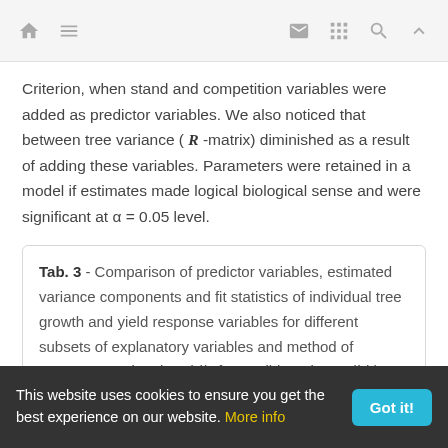Navigation bar with home, menu, email, grid, search, and up icons
Criterion, when stand and competition variables were added as predictor variables. We also noticed that between tree variance ( R -matrix) diminished as a result of adding these variables. Parameters were retained in a model if estimates made logical biological sense and were significant at α = 0.05 level.
Tab. 3 - Comparison of predictor variables, estimated variance components and fit statistics of individual tree growth and yield response variables for different subsets of explanatory variables and method of parameter estimation. (d_t): future dbh at time t; (id_5): 5-year diamete...